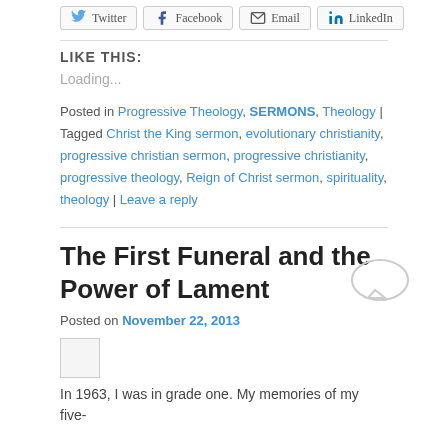[Figure (other): Social sharing buttons: Twitter, Facebook, Email, LinkedIn]
LIKE THIS:
Loading...
Posted in Progressive Theology, SERMONS, Theology | Tagged Christ the King sermon, evolutionary christianity, progressive christian sermon, progressive christianity, progressive theology, Reign of Christ sermon, spirituality, theology | Leave a reply
The First Funeral and the Power of Lament
Posted on November 22, 2013
[Figure (other): Small thumbnail/image placeholder (empty box)]
In 1963, I was in grade one. My memories of my five-